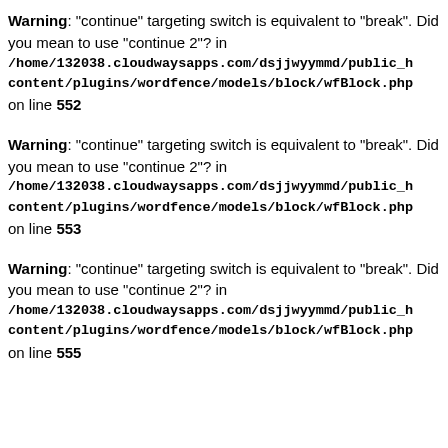Warning: "continue" targeting switch is equivalent to "break". Did you mean to use "continue 2"? in /home/132038.cloudwaysapps.com/dsjjwyymmd/public_h content/plugins/wordfence/models/block/wfBlock.php on line 552
Warning: "continue" targeting switch is equivalent to "break". Did you mean to use "continue 2"? in /home/132038.cloudwaysapps.com/dsjjwyymmd/public_h content/plugins/wordfence/models/block/wfBlock.php on line 553
Warning: "continue" targeting switch is equivalent to "break". Did you mean to use "continue 2"? in /home/132038.cloudwaysapps.com/dsjjwyymmd/public_h content/plugins/wordfence/models/block/wfBlock.php on line 555